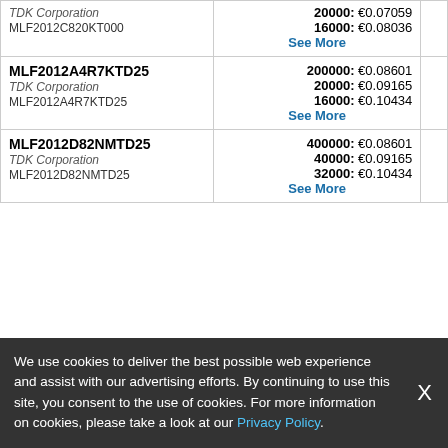| Part Number | Price |  |
| --- | --- | --- |
| TDK Corporation
MLF2012C820KT000 | 20000: €0.07059
16000: €0.08036
See More |  |
| MLF2012A4R7KTD25
TDK Corporation
MLF2012A4R7KTD25 | 200000: €0.08601
20000: €0.09165
16000: €0.10434
See More |  |
| MLF2012D82NMTD25
TDK Corporation
MLF2012D82NMTD25 | 400000: €0.08601
40000: €0.09165
32000: €0.10434
See More |  |
View All Re
[Figure (logo): LCSC Electronics logo with blue arc and red swoosh]
| Part Number | Price | Availa |
| --- | --- | --- |
We use cookies to deliver the best possible web experience and assist with our advertising efforts. By continuing to use this site, you consent to the use of cookies. For more information on cookies, please take a look at our Privacy Policy.